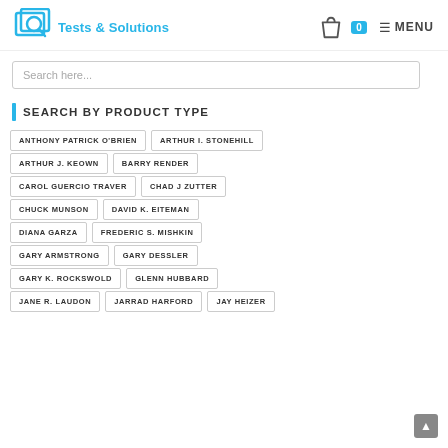Tests & Solutions — MENU | cart: 0
Search here...
SEARCH BY PRODUCT TYPE
ANTHONY PATRICK O'BRIEN
ARTHUR I. STONEHILL
ARTHUR J. KEOWN
BARRY RENDER
CAROL GUERCIO TRAVER
CHAD J ZUTTER
CHUCK MUNSON
DAVID K. EITEMAN
DIANA GARZA
FREDERIC S. MISHKIN
GARY ARMSTRONG
GARY DESSLER
GARY K. ROCKSWOLD
GLENN HUBBARD
JANE R. LAUDON
JARRAD HARFORD
JAY HEIZER